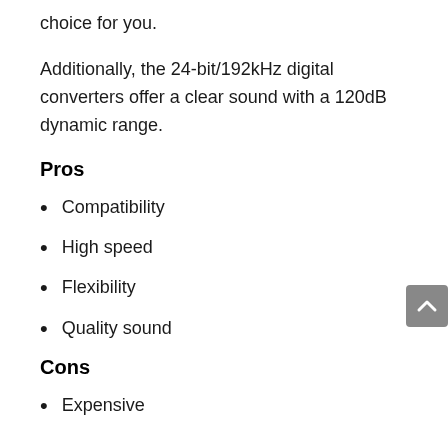choice for you.
Additionally, the 24-bit/192kHz digital converters offer a clear sound with a 120dB dynamic range.
Pros
Compatibility
High speed
Flexibility
Quality sound
Cons
Expensive